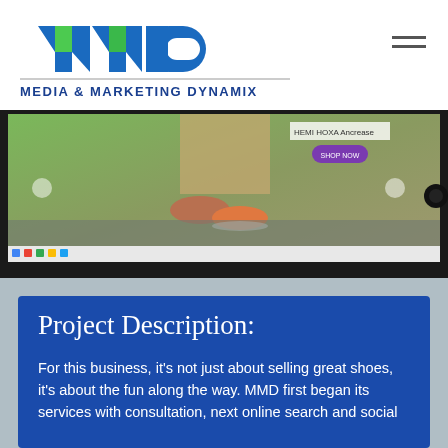[Figure (logo): MMD logo — stylized blue and green letters forming AMD shape]
MEDIA & MARKETING DYNAMIX
[Figure (screenshot): Screenshot of a shoe retail website displayed on a monitor, showing hiking boots and sneakers on rocky terrain with green vegetation background]
Project Description:
For this business, it's not just about selling great shoes, it's about the fun along the way. MMD first began its services with consultation, next online search and social